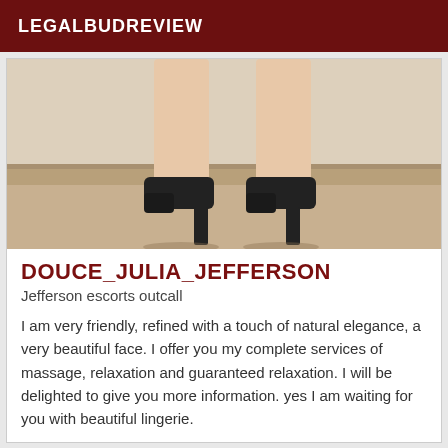LEGALBUDREVIEW
[Figure (photo): Photo of a person's legs wearing black high heel shoes, standing on a light wood floor surface]
DOUCE_JULIA_JEFFERSON
Jefferson escorts outcall
I am very friendly, refined with a touch of natural elegance, a very beautiful face. I offer you my complete services of massage, relaxation and guaranteed relaxation. I will be delighted to give you more information. yes I am waiting for you with beautiful lingerie.
Verified